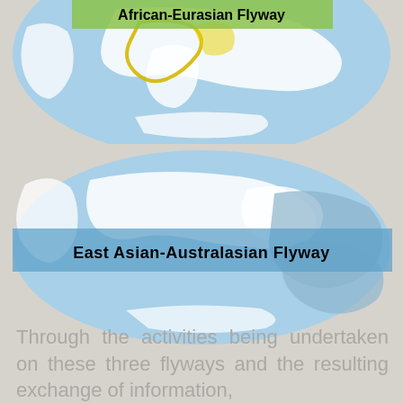[Figure (map): Top portion of a globe map showing the African-Eurasian Flyway with a yellow highlighted route over Africa-Eurasia region, light blue ocean and white land masses, with bold black text label 'African-Eurasian Flyway' at top]
[Figure (map): Globe map in oval/Mollweide projection showing the East Asian-Australasian Flyway with a blue-grey highlighted region over East Asia and Australasia, light blue ocean and white land masses, with a semi-transparent blue banner across the middle containing bold black text 'East Asian-Australasian Flyway']
Through the activities being undertaken on these three flyways and the resulting exchange of information, WMBP aims to improve the knowledge of